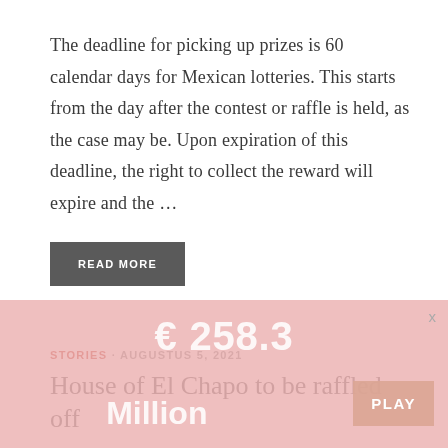The deadline for picking up prizes is 60 calendar days for Mexican lotteries. This starts from the day after the contest or raffle is held, as the case may be. Upon expiration of this deadline, the right to collect the reward will expire and the …
READ MORE
STORIES · AUGUSTUS 5, 2021
House of El Chapo to be raffled off
[Figure (other): Overlay advertisement banner with pink background showing '€ 258.3 Million' text and a PLAY button with an X close button]